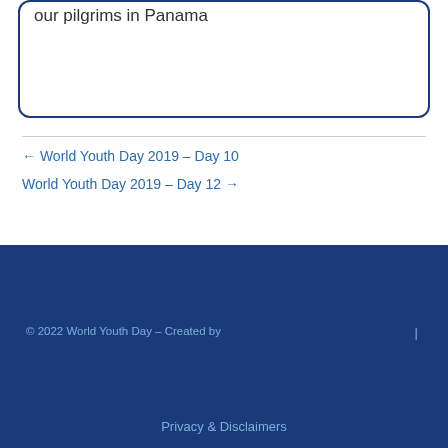our pilgrims in Panama
← World Youth Day 2019 – Day 10
World Youth Day 2019 – Day 12 →
© 2022 World Youth Day – Created by | Privacy & Disclaimers